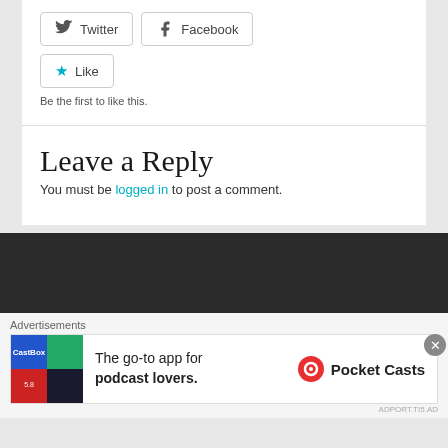[Figure (other): Social sharing buttons: Twitter button, Facebook button, and Like button with star icon]
Be the first to like this.
Leave a Reply
You must be logged in to post a comment.
[Figure (other): Dark footer background area]
Advertisements
[Figure (other): Pocket Casts advertisement banner: The go-to app for podcast lovers. with Pocket Casts logo]